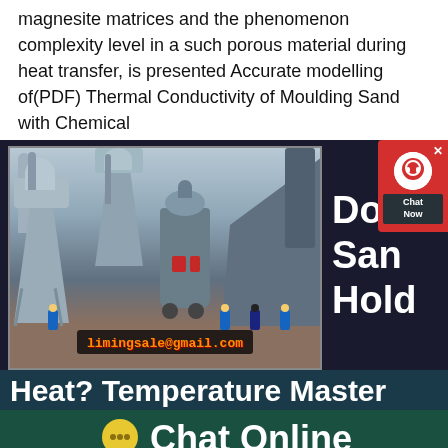magnesite matrices and the phenomenon complexity level in a such porous material during heat transfer, is presented Accurate modelling of(PDF) Thermal Conductivity of Moulding Sand with Chemical
[Figure (photo): Industrial milling/grinding equipment with large silos and machinery in an outdoor factory setting. Workers in blue uniforms visible in the foreground. Email overlay: limingsale@gmail.com]
Does San Hold
Chat Now
Heat? Temperature Master
Chat Online